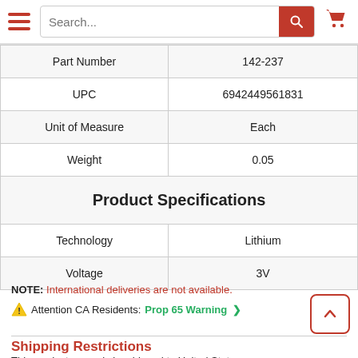Search... [nav bar with hamburger, search, cart]
| Attribute | Value |
| --- | --- |
| Part Number | 142-237 |
| UPC | 6942449561831 |
| Unit of Measure | Each |
| Weight | 0.05 |
| Product Specifications |  |
| Technology | Lithium |
| Voltage | 3V |
NOTE: International deliveries are not available.
⚠ Attention CA Residents: Prop 65 Warning >
Shipping Restrictions
This product can only be shipped to United States.